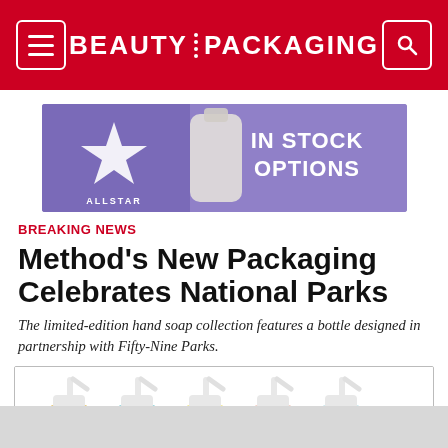BEAUTY PACKAGING
[Figure (illustration): Allstar packaging advertisement banner with purple background showing a white bottle and text 'IN STOCK OPTIONS']
BREAKING NEWS
Method's New Packaging Celebrates National Parks
The limited-edition hand soap collection features a bottle designed in partnership with Fifty-Nine Parks.
[Figure (photo): Five Method hand soap pump bottles with colorful liquid — gold, teal, yellow, peach, and light blue — with white pump dispensers, arranged side by side on white background.]